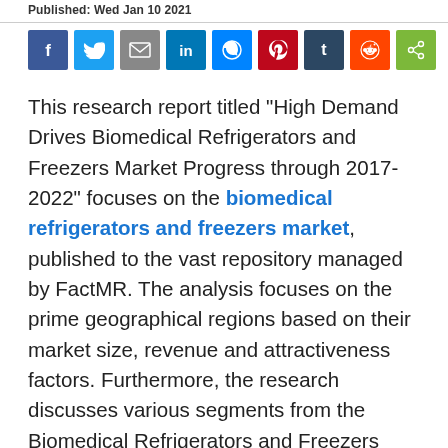Published: Wed Jan 10 2021
[Figure (infographic): Row of social media sharing buttons: Facebook (blue), Twitter (light blue), Email (grey), LinkedIn (dark blue), Messenger (blue), Pinterest (red), Tumblr (dark blue), Reddit (orange), Share (green)]
This research report titled "High Demand Drives Biomedical Refrigerators and Freezers Market Progress through 2017-2022" focuses on the biomedical refrigerators and freezers market, published to the vast repository managed by FactMR. The analysis focuses on the prime geographical regions based on their market size, revenue and attractiveness factors. Furthermore, the research discusses various segments from the Biomedical Refrigerators and Freezers Market to examine future lucrativeness and spot growth prospects during 2017-2022. Readers can even